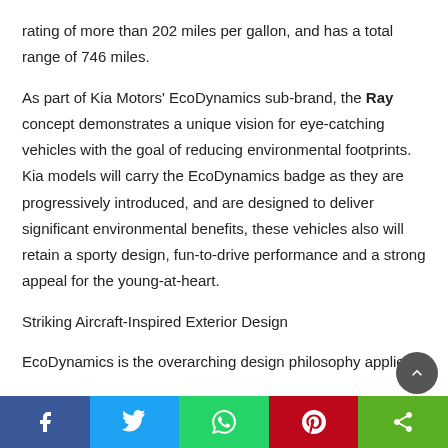rating of more than 202 miles per gallon, and has a total range of 746 miles.
As part of Kia Motors' EcoDynamics sub-brand, the Ray concept demonstrates a unique vision for eye-catching vehicles with the goal of reducing environmental footprints. Kia models will carry the EcoDynamics badge as they are progressively introduced, and are designed to deliver significant environmental benefits, these vehicles also will retain a sporty design, fun-to-drive performance and a strong appeal for the young-at-heart.
Striking Aircraft-Inspired Exterior Design
EcoDynamics is the overarching design philosophy applied